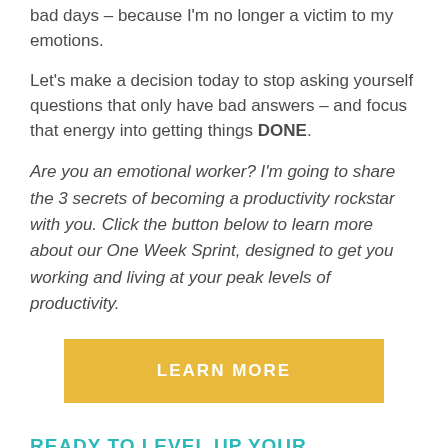bad days – because I'm no longer a victim to my emotions.
Let's make a decision today to stop asking yourself questions that only have bad answers – and focus that energy into getting things DONE.
Are you an emotional worker? I'm going to share the 3 secrets of becoming a productivity rockstar with you. Click the button below to learn more about our One Week Sprint, designed to get you working and living at your peak levels of productivity.
[Figure (other): Yellow button with text LEARN MORE]
READY TO LEVEL UP YOUR PERFORMANCE?
GET OUR MORNING AND EVENING ROUTINE